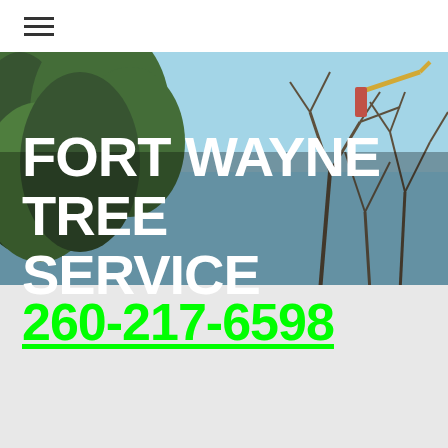[Figure (screenshot): Navigation bar with hamburger menu icon (three horizontal lines) on white background]
[Figure (photo): Outdoor photo showing trees with bare branches against a blue sky, with a crane or lift equipment visible. Used as hero background image.]
FORT WAYNE TREE SERVICE
260-217-6598